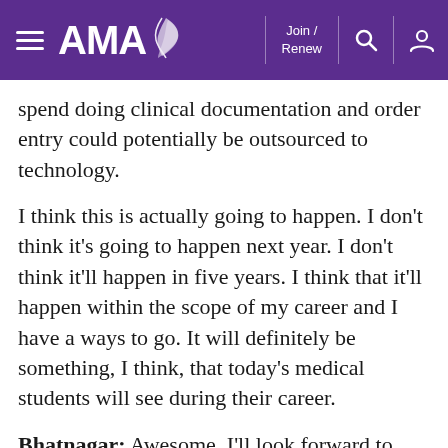AMA — Join / Renew
spend doing clinical documentation and order entry could potentially be outsourced to technology.
I think this is actually going to happen. I don't think it's going to happen next year. I don't think it'll happen in five years. I think that it'll happen within the scope of my career and I have a ways to go. It will definitely be something, I think, that today's medical students will see during their career.
Bhatnagar: Awesome. I'll look forward to that. All right. As we wrap up, do you have any channels or social media handles where people can connect